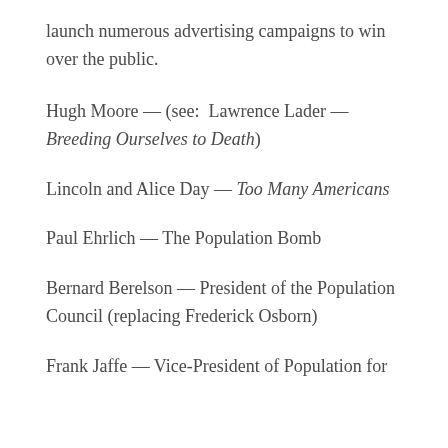launch numerous advertising campaigns to win over the public.
Hugh Moore — (see: Lawrence Lader — Breeding Ourselves to Death)
Lincoln and Alice Day — Too Many Americans
Paul Ehrlich — The Population Bomb
Bernard Berelson — President of the Population Council (replacing Frederick Osborn)
Frank Jaffe — Vice-President of Population for